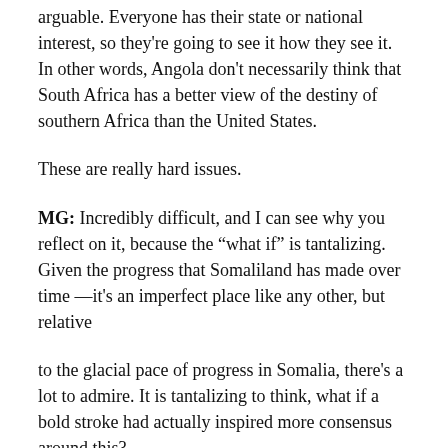arguable. Everyone has their state or national interest, so they're going to see it how they see it. In other words, Angola don't necessarily think that South Africa has a better view of the destiny of southern Africa than the United States.
These are really hard issues.
MG: Incredibly difficult, and I can see why you reflect on it, because the “what if” is tantalizing. Given the progress that Somaliland has made over time —it's an imperfect place like any other, but relative
to the glacial pace of progress in Somalia, there's a lot to admire. It is tantalizing to think, what if a bold stroke had actually inspired more consensus around this?
JF: Right. We had the president of Somaliland in the United States to meet with the administration. I traveled there as